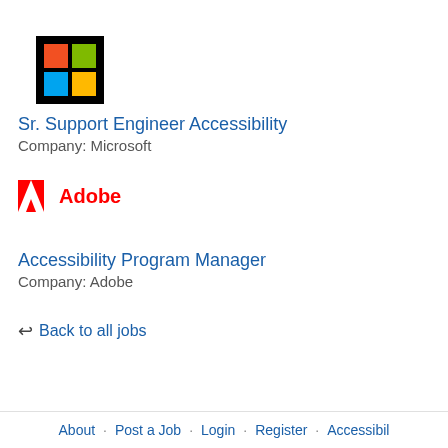[Figure (logo): Microsoft logo: black background with four colored squares in a 2x2 grid (red, green, blue, yellow)]
Sr. Support Engineer Accessibility
Company: Microsoft
[Figure (logo): Adobe logo: red A icon with 'Adobe' in red text]
Accessibility Program Manager
Company: Adobe
↩ Back to all jobs
About · Post a Job · Login · Register · Accessibil